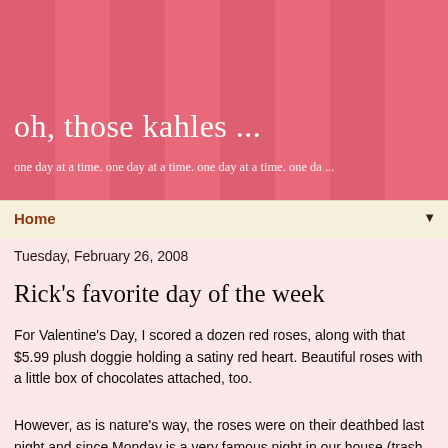oh, those kahles ...
one day at a time. one day at a time. one day at a time. one da ...
Home
Tuesday, February 26, 2008
Rick's favorite day of the week
For Valentine's Day, I scored a dozen red roses, along with that $5.99 plush doggie holding a satiny red heart. Beautiful roses with a little box of chocolates attached, too.
However, as is nature's way, the roses were on their deathbed last night and since Monday is a very famous night in our house (trash